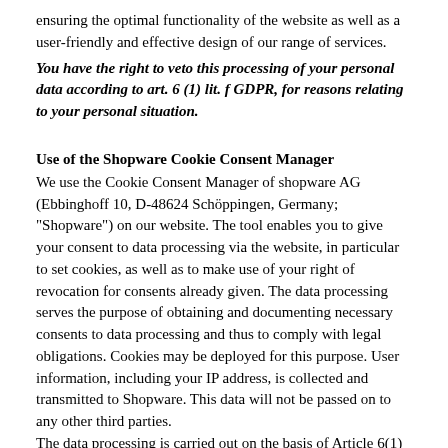ensuring the optimal functionality of the website as well as a user-friendly and effective design of our range of services.
You have the right to veto this processing of your personal data according to art. 6 (1) lit. f GDPR, for reasons relating to your personal situation.
Use of the Shopware Cookie Consent Manager
We use the Cookie Consent Manager of shopware AG (Ebbinghoff 10, D-48624 Schöppingen, Germany; "Shopware") on our website. The tool enables you to give your consent to data processing via the website, in particular to set cookies, as well as to make use of your right of revocation for consents already given. The data processing serves the purpose of obtaining and documenting necessary consents to data processing and thus to comply with legal obligations. Cookies may be deployed for this purpose. User information, including your IP address, is collected and transmitted to Shopware. This data will not be passed on to any other third parties.
The data processing is carried out on the basis of Article 6(1)(c) GDPR to comply with a legal obligation.
For more information about Shopware's privacy policy, please visit: https://www.shopware.com/de/datenschutz/.
Analysis
Use of the Google Analytics
Our website uses the web analysis service Google Analytics from